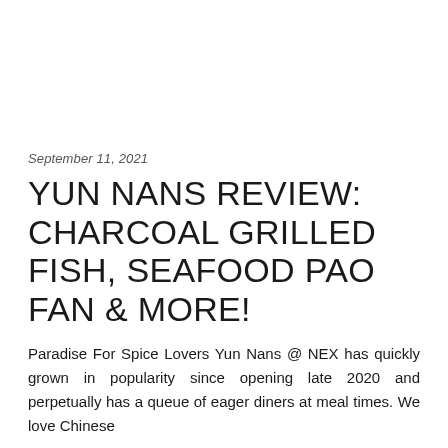September 11, 2021
YUN NANS REVIEW: CHARCOAL GRILLED FISH, SEAFOOD PAO FAN & MORE!
Paradise For Spice Lovers Yun Nans @ NEX has quickly grown in popularity since opening late 2020 and perpetually has a queue of eager diners at meal times. We love Chinese